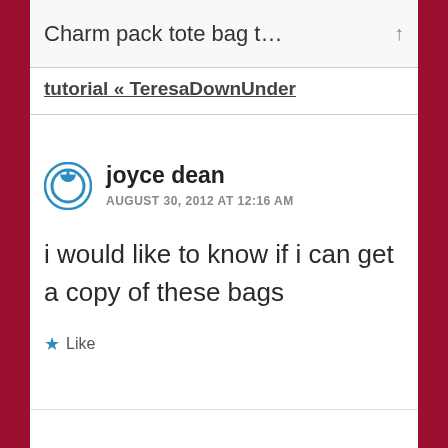Charm pack tote bag t…
tutorial « TeresaDownUnder
joyce dean
AUGUST 30, 2012 AT 12:16 AM
i would like to know if i can get a copy of these bags
Like